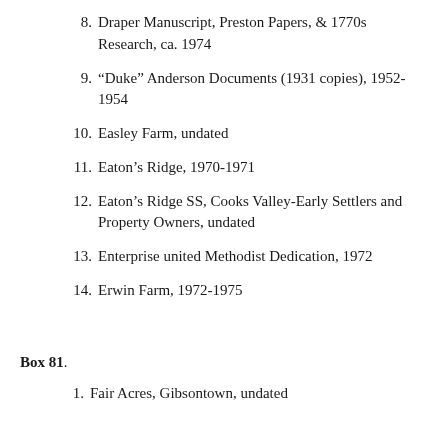8. Draper Manuscript, Preston Papers, & 1770s Research, ca. 1974
9. “Duke” Anderson Documents (1931 copies), 1952-1954
10. Easley Farm, undated
11. Eaton’s Ridge, 1970-1971
12. Eaton’s Ridge SS, Cooks Valley-Early Settlers and Property Owners, undated
13. Enterprise united Methodist Dedication, 1972
14. Erwin Farm, 1972-1975
Box 81.
1. Fair Acres, Gibsontown, undated